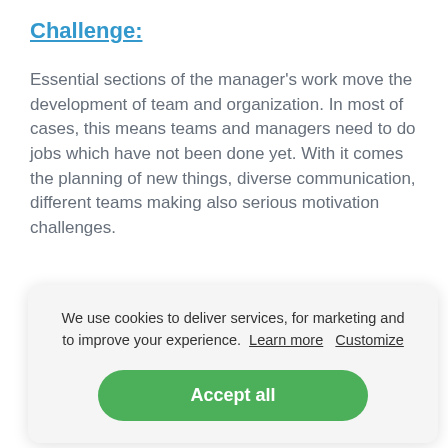Challenge:
Essential sections of the manager's work move the development of team and organization. In most of cases, this means teams and managers need to do jobs which have not been done yet. With it comes the planning of new things, diverse communication, different teams making also serious motivation challenges.
We use cookies to deliver services, for marketing and to improve your experience.  Learn more   Customize
Accept all
Although you need to answer more detailed questions: